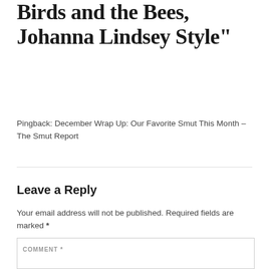1 thought on “My First Smut: The Birds and the Bees, Johanna Lindsey Style”
Pingback: December Wrap Up: Our Favorite Smut This Month – The Smut Report
Leave a Reply
Your email address will not be published. Required fields are marked *
COMMENT *